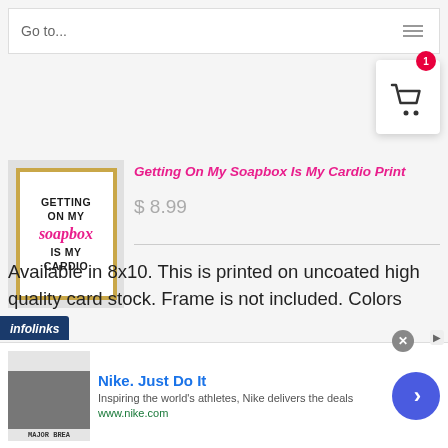Go to...
[Figure (screenshot): Shopping cart icon with red badge notification indicator]
[Figure (photo): Product image: Getting On My Soapbox Is My Cardio Print - white print with gold frame, black bold text and pink script]
Getting On My Soapbox Is My Cardio Print
$ 8.99
Available in 8x10. This is printed on uncoated high quality card stock. Frame is not included. Colors may
[Figure (screenshot): Infolinks advertisement banner featuring Nike. Just Do It ad with product image, description 'Inspiring the world's athletes, Nike delivers the deals', url www.nike.com, and a blue arrow button]